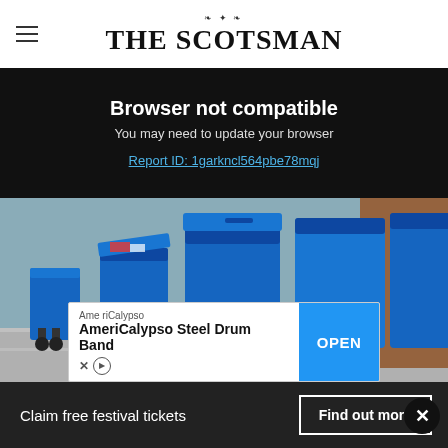THE SCOTSMAN
Browser not compatible
You may need to update your browser
Report ID: 1garkncl564pbe78mqj
[Figure (photo): Row of blue recycling bins on a residential pavement]
[Figure (screenshot): Advertisement banner for AmeriCalypso Steel Drum Band with OPEN button]
Claim free festival tickets
Find out more